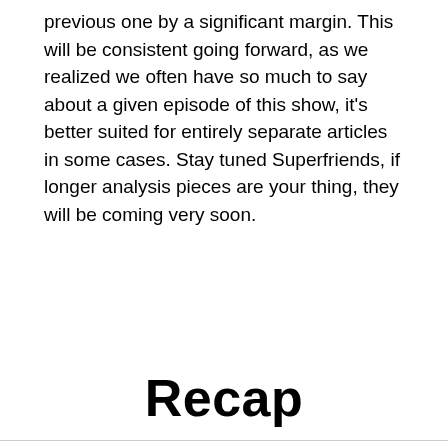previous one by a significant margin. This will be consistent going forward, as we realized we often have so much to say about a given episode of this show, it's better suited for entirely separate articles in some cases. Stay tuned Superfriends, if longer analysis pieces are your thing, they will be coming very soon.
Recap
We use cookies on our website to give you the most relevant experience by remembering your preferences and repeat visits. By clicking “Accept”, you consent to the use of ALL the cookies. Do not sell my personal information.
Cookie Settings  Accept